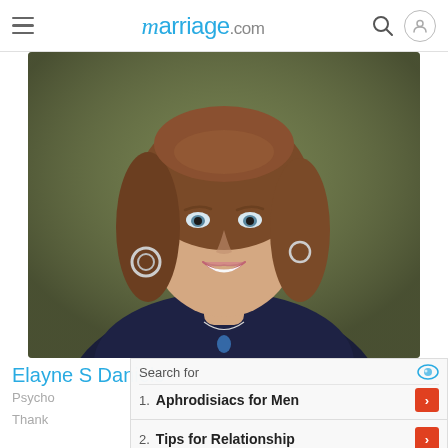marriage.com
[Figure (photo): Portrait photo of a smiling middle-aged woman with brown hair, wearing a dark navy lace top and a necklace with a blue pendant, and hoop earrings. Background is olive/dark green.]
Elayne S Daniels
Psycho
Thank
Search for
1. Aphrodisiacs for Men
2. Tips for Relationship
Yahoo! Search | Sponsored